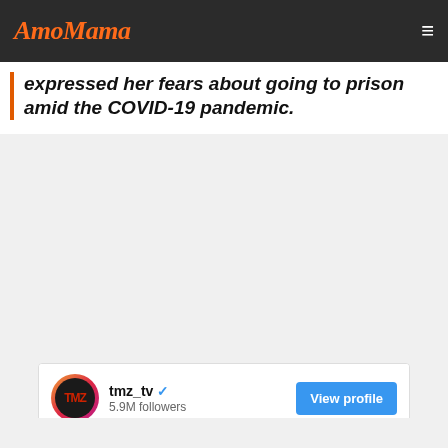AmoMama
expressed her fears about going to prison amid the COVID-19 pandemic.
[Figure (screenshot): Embedded social media post from tmz_tv Instagram account with 5.9M followers showing a photo of a woman with blonde hair with a prison building in the background. A 'View profile' button appears in the top right of the embed.]